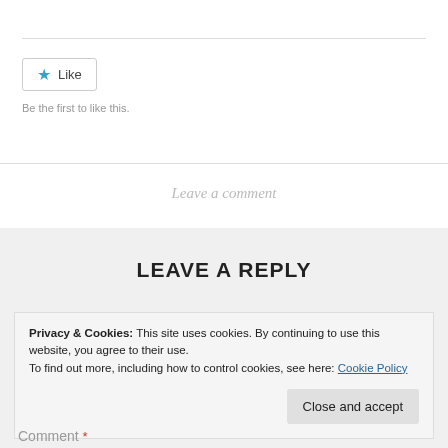[Figure (other): Like button with blue star icon and text 'Like']
Be the first to like this.
Leave a comment
LEAVE A REPLY
Privacy & Cookies: This site uses cookies. By continuing to use this website, you agree to their use.
To find out more, including how to control cookies, see here: Cookie Policy
Close and accept
Comment *